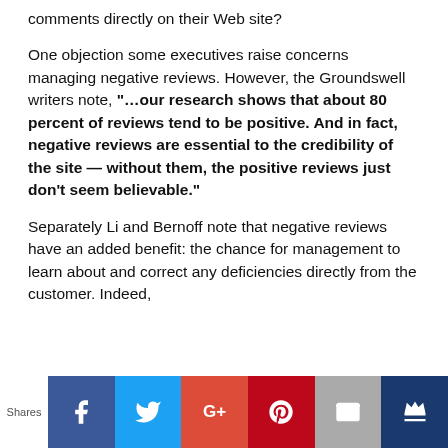comments directly on their Web site?
One objection some executives raise concerns managing negative reviews. However, the Groundswell writers note, “…our research shows that about 80 percent of reviews tend to be positive. And in fact, negative reviews are essential to the credibility of the site — without them, the positive reviews just don’t seem believable.”
Separately Li and Bernoff note that negative reviews have an added benefit: the chance for management to learn about and correct any deficiencies directly from the customer. Indeed,
[Figure (infographic): Social sharing bar with icons for Facebook, Twitter, Google+, Pinterest, Email, and a crown icon. Labeled 'Shares' on the left.]